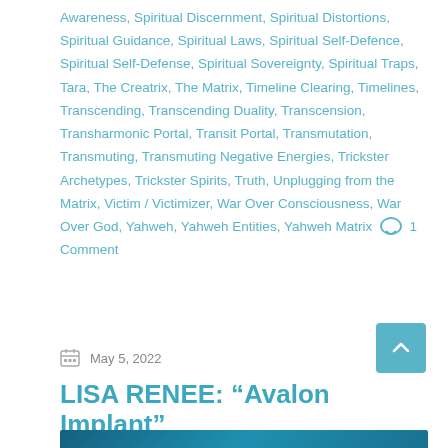Awareness, Spiritual Discernment, Spiritual Distortions, Spiritual Guidance, Spiritual Laws, Spiritual Self-Defence, Spiritual Self-Defense, Spiritual Sovereignty, Spiritual Traps, Tara, The Creatrix, The Matrix, Timeline Clearing, Timelines, Transcending, Transcending Duality, Transcension, Transharmonic Portal, Transit Portal, Transmutation, Transmuting, Transmuting Negative Energies, Trickster Archetypes, Trickster Spirits, Truth, Unplugging from the Matrix, Victim / Victimizer, War Over Consciousness, War Over God, Yahweh, Yahweh Entities, Yahweh Matrix ○ 1 Comment
May 5, 2022
LISA RENEE: “Avalon Implant”
[Figure (photo): Partial view of an image with teal/blue tones, likely a decorative header image for the article]